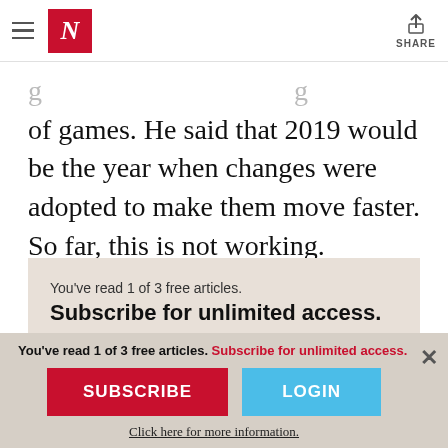N (The New Yorker logo) | SHARE
of games. He said that 2019 would be the year when changes were adopted to make them move faster. So far, this is not working.
You've read 1 of 3 free articles.
Subscribe for unlimited access.
Already a subscriber? Log in.
You've read 1 of 3 free articles. Subscribe for unlimited access.
SUBSCRIBE
LOGIN
Click here for more information.